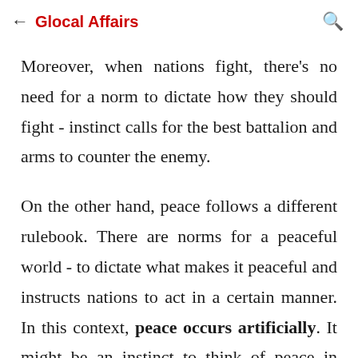← Glocal Affairs 🔍
Moreover, when nations fight, there's no need for a norm to dictate how they should fight - instinct calls for the best battalion and arms to counter the enemy.
On the other hand, peace follows a different rulebook. There are norms for a peaceful world - to dictate what makes it peaceful and instructs nations to act in a certain manner. In this context, peace occurs artificially. It might be an instinct to think of peace in times of conflict, but more often we have